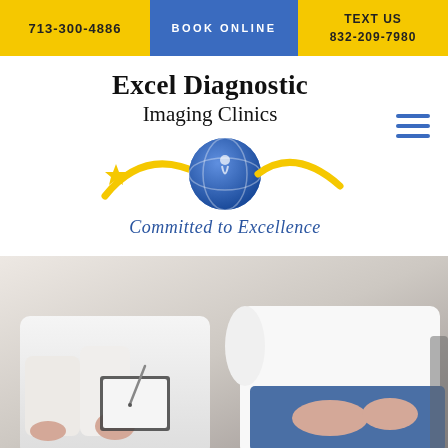713-300-4886
BOOK ONLINE
TEXT US 832-209-7980
Excel Diagnostic Imaging Clinics
[Figure (logo): Excel Diagnostic Imaging Clinics logo with blue globe and yellow swoosh, tagline 'Committed to Excellence' in script]
[Figure (photo): Doctor in white coat holding clipboard consulting with a patient in a white sweater and jeans]